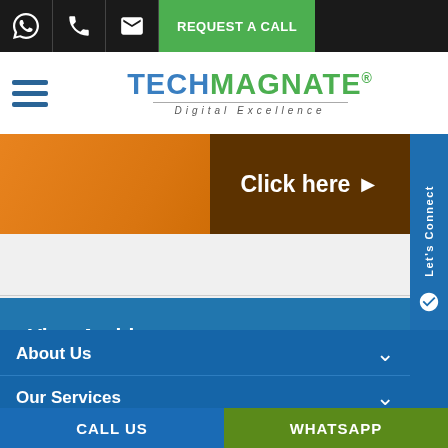REQUEST A CALL | TechMagnate - Digital Excellence
[Figure (screenshot): Orange banner with 'Click here' button on brown background with arrow]
Let's Connect
View Archives »
About Us
Our Services
CALL US | WHATSAPP